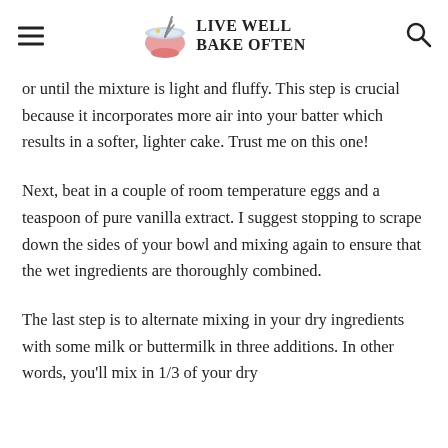LIVE WELL BAKE OFTEN
or until the mixture is light and fluffy. This step is crucial because it incorporates more air into your batter which results in a softer, lighter cake. Trust me on this one!
Next, beat in a couple of room temperature eggs and a teaspoon of pure vanilla extract. I suggest stopping to scrape down the sides of your bowl and mixing again to ensure that the wet ingredients are thoroughly combined.
The last step is to alternate mixing in your dry ingredients with some milk or buttermilk in three additions. In other words, you'll mix in 1/3 of your dry